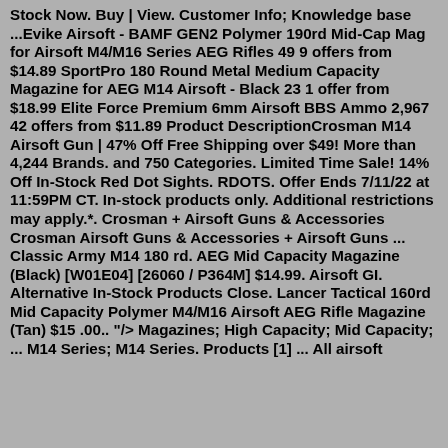Stock Now. Buy | View. Customer Info; Knowledge base ...Evike Airsoft - BAMF GEN2 Polymer 190rd Mid-Cap Mag for Airsoft M4/M16 Series AEG Rifles 49 9 offers from $14.89 SportPro 180 Round Metal Medium Capacity Magazine for AEG M14 Airsoft - Black 23 1 offer from $18.99 Elite Force Premium 6mm Airsoft BBS Ammo 2,967 42 offers from $11.89 Product DescriptionCrosman M14 Airsoft Gun | 47% Off Free Shipping over $49! More than 4,244 Brands. and 750 Categories. Limited Time Sale! 14% Off In-Stock Red Dot Sights. RDOTS. Offer Ends 7/11/22 at 11:59PM CT. In-stock products only. Additional restrictions may apply.*. Crosman + Airsoft Guns & Accessories Crosman Airsoft Guns & Accessories + Airsoft Guns ... Classic Army M14 180 rd. AEG Mid Capacity Magazine (Black) [W01E04] [26060 / P364M] $14.99. Airsoft GI. Alternative In-Stock Products Close. Lancer Tactical 160rd Mid Capacity Polymer M4/M16 Airsoft AEG Rifle Magazine (Tan) $15 .00.. "/> Magazines; High Capacity; Mid Capacity; ... M14 Series; M14 Series. Products [1] ... All airsoft